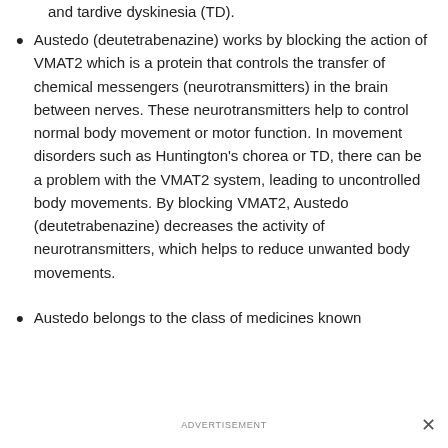and tardive dyskinesia (TD).
Austedo (deutetrabenazine) works by blocking the action of VMAT2 which is a protein that controls the transfer of chemical messengers (neurotransmitters) in the brain between nerves. These neurotransmitters help to control normal body movement or motor function. In movement disorders such as Huntington's chorea or TD, there can be a problem with the VMAT2 system, leading to uncontrolled body movements. By blocking VMAT2, Austedo (deutetrabenazine) decreases the activity of neurotransmitters, which helps to reduce unwanted body movements.
Austedo belongs to the class of medicines known